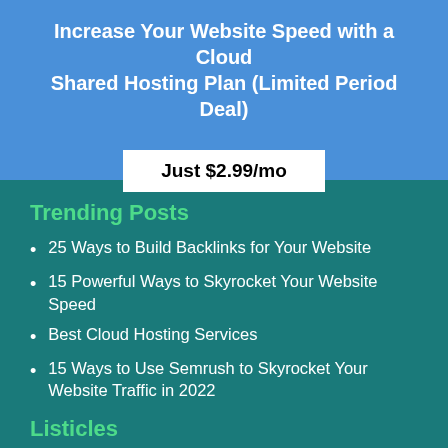Increase Your Website Speed with a Cloud Shared Hosting Plan (Limited Period Deal)
Just $2.99/mo
Trending Posts
25 Ways to Build Backlinks for Your Website
15 Powerful Ways to Skyrocket Your Website Speed
Best Cloud Hosting Services
15 Ways to Use Semrush to Skyrocket Your Website Traffic in 2022
Listicles
21 Best Web Hosting Services
15 Best Managed WordPress Hosting Companies